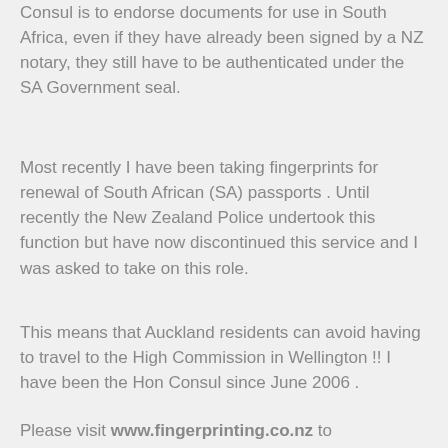Consul is to endorse documents for use in South Africa, even if they have already been signed by a NZ notary, they still have to be authenticated under the SA Government seal.
Most recently I have been taking fingerprints for renewal of South African (SA) passports . Until recently the New Zealand Police undertook this function but have now discontinued this service and I was asked to take on this role.
This means that Auckland residents can avoid having to travel to the High Commission in Wellington !! I have been the Hon Consul since June 2006 .
Please visit www.fingerprinting.co.nz to